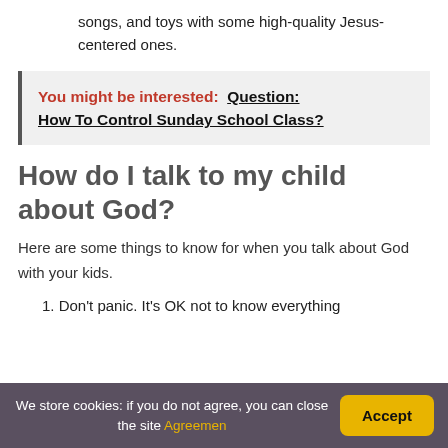songs, and toys with some high-quality Jesus-centered ones.
You might be interested:  Question: How To Control Sunday School Class?
How do I talk to my child about God?
Here are some things to know for when you talk about God with your kids.
1. Don't panic. It's OK not to know everything
We store cookies: if you do not agree, you can close the site Agreement